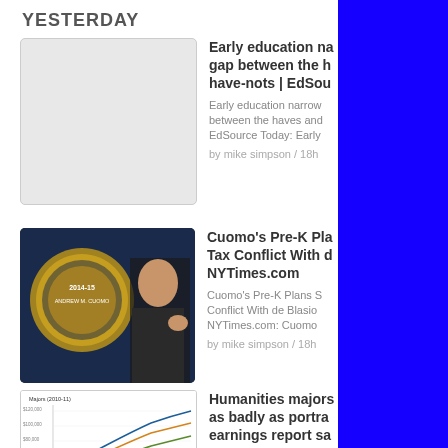YESTERDAY
[Figure (photo): Empty grey placeholder thumbnail for first article]
Early education narrows gap between the haves and have-nots | EdSource Today
Early education narrows the gap between the haves and have-nots | EdSource Today: Early...
by mike simpson / 18h
[Figure (photo): Photo of Governor Andrew Cuomo speaking, with New York State seal and 2014-15 Andrew M. Cuomo text visible]
Cuomo's Pre-K Plans Spark Tax Conflict With de Blasio | NYTimes.com
Cuomo's Pre-K Plans Spark Tax Conflict With de Blasio | NYTimes.com: Cuomo...
by mike simpson / 18h
[Figure (line-chart): Line chart showing majors earnings data over time with multiple colored lines for Humanities and Social Sciences, Professional and Pre-professional, Physical Sciences Natural Sciences and Mathematics, Engineering]
Humanities majors don't fare as badly as portrayed, new earnings report says | Hechinger Report
Humanities majors don't fare as badly as portrayed, new earnings report says | Hechinger Repo...